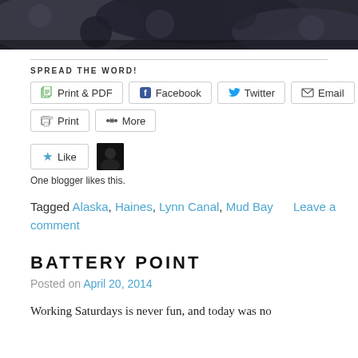[Figure (photo): Dark blurred photo strip showing mussels or rocks, dark tones of black, gray and blue]
SPREAD THE WORD!
Print & PDF  Facebook  Twitter  Email  Print  More
Like  One blogger likes this.
Tagged Alaska, Haines, Lynn Canal, Mud Bay   Leave a comment
BATTERY POINT
Posted on April 20, 2014
Working Saturdays is never fun, and today was no